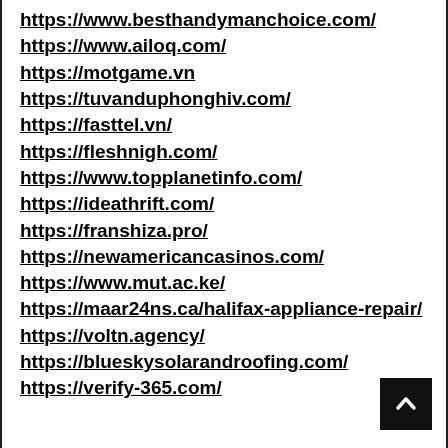https://www.besthandymanchoice.com/
https://www.ailoq.com/
https://motgame.vn
https://tuvanduphonghiv.com/
https://fasttel.vn/
https://fleshnigh.com/
https://www.topplanetinfo.com/
https://ideathrift.com/
https://franshiza.pro/
https://newamericancasinos.com/
https://www.mut.ac.ke/
https://maar24ns.ca/halifax-appliance-repair/
https://voltn.agency/
https://blueskysolarandroofing.com/
https://verify-365.com/